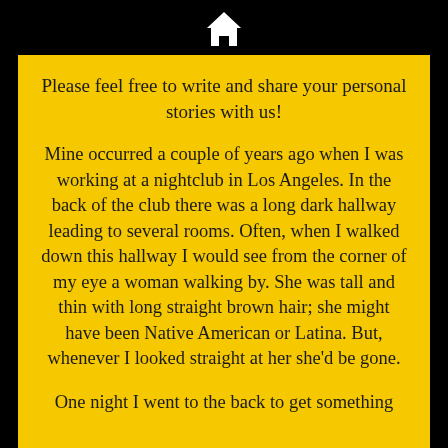[Figure (illustration): White house/home icon symbol at top center of page]
Please feel free to write and share your personal stories with us!
Mine occurred a couple of years ago when I was working at a nightclub in Los Angeles. In the back of the club there was a long dark hallway leading to several rooms. Often, when I walked down this hallway I would see from the corner of my eye a woman walking by. She was tall and thin with long straight brown hair; she might have been Native American or Latina. But, whenever I looked straight at her she'd be gone.
One night I went to the back to get something